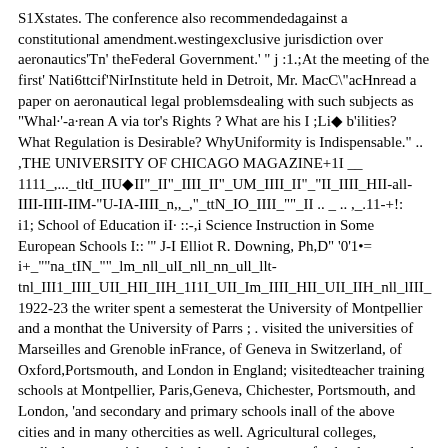S1Xstates. The conference also recommendedagainst a constitutional amendment.westingexclusive jurisdiction over aeronautics'Tn' theFederal Government.' " j :1.;At the meeting of the first' Nati6ttcif'NirInstitute held in Detroit, Mr. MacC\"acHnread a paper on aeronautical legal problemsdealing with such subjects as "Whal·'-a·rean A via tor's Rights ? What are his I ;Li◆ b'ilities? What Regulation is Desirable? WhyUniformity is Indispensable." .. ,THE UNIVERSITY OF CHICAGO MAGAZINE+1I __
1111_,..._tltI_IIU◆II"_II"_IIII_II"_UM_IIII_II"_"II_IIII_HII-all-IIII-IIII-IIM-"U-IA-IIII_n,,_,"_ttN_IO_IIII_""_II .. _ .. ,_.11-+!:
i1; School of Education iI· ::‐,i Science Instruction in Some European Schools I:: '" J-I Elliot R. Downing, Ph,D" '0'1•= i+_""na_tIN_""_lm_nll_ulI_nll_nn_ull_llt-tnl_III1_IIII_UII_HII_IIH_1I1I_UII_Im_IIII_HII_UII_IIH_nll_lIII_
1922-23 the writer spent a semesterat the University of Montpellier and a monthat the University of Parrs ; . visited the universities of Marseilles and Grenoble inFrance, of Geneva in Switzerland, of Oxford,Portsmouth, and London in England; visitedteacher training schools at Montpellier, Paris,Geneva, Chichester, Portsmouth, and London, 'and secondary and primary schools inall of the above cities and in many othercities as well. Agricultural colleges, medical,commercial, technical, and other types of‐schools were also visited, primarily to observe the science instruction. Members otthe writer's family were enrolled both in